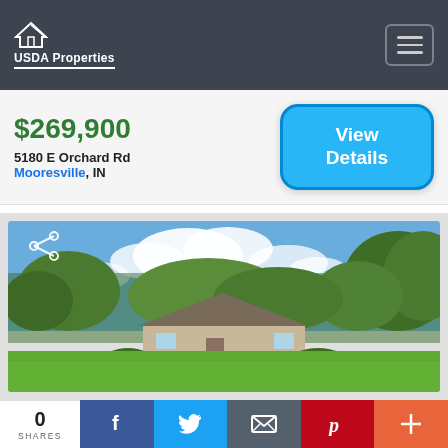USDA Properties
$269,900
5180 E Orchard Rd
Mooresville, IN
View Details
[Figure (photo): Exterior photo of a ranch-style house with a large green lawn, surrounded by trees under a partly cloudy blue sky. A share icon is overlaid in the top-left corner of the image.]
0 SHARES